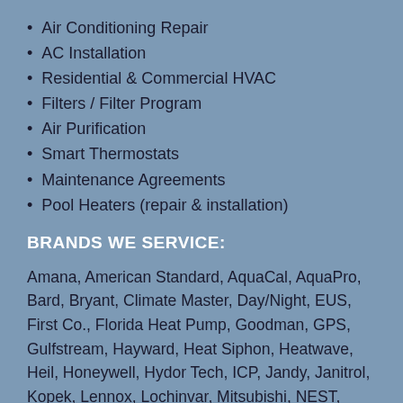Air Conditioning Repair
AC Installation
Residential & Commercial HVAC
Filters / Filter Program
Air Purification
Smart Thermostats
Maintenance Agreements
Pool Heaters (repair & installation)
BRANDS WE SERVICE:
Amana, American Standard, AquaCal, AquaPro, Bard, Bryant, Climate Master, Day/Night, EUS, First Co., Florida Heat Pump, Goodman, GPS, Gulfstream, Hayward, Heat Siphon, Heatwave, Heil, Honeywell, Hydor Tech, ICP, Jandy, Janitrol, Kopek, Lennox, Lochinvar, Mitsubishi, NEST, Nirvana, Payne, Pentar, Philco, Raypak, RGF, Rheem, Rome Industries, Ruud, S... S... S... T... T... W...